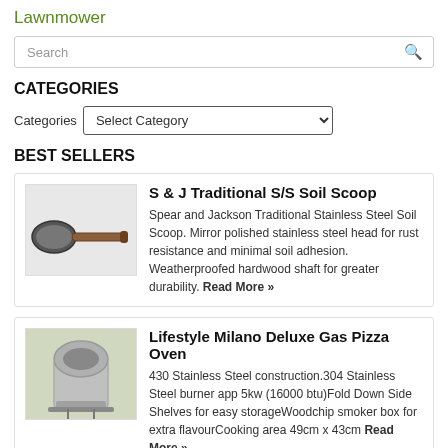Lawnmower
Search
CATEGORIES
Categories  Select Category
BEST SELLERS
S & J Traditional S/S Soil Scoop
Spear and Jackson Traditional Stainless Steel Soil Scoop. Mirror polished stainless steel head for rust resistance and minimal soil adhesion. Weatherproofed hardwood shaft for greater durability. Read More »
Lifestyle Milano Deluxe Gas Pizza Oven
430 Stainless Steel construction.304 Stainless Steel burner app 5kw (16000 btu)Fold Down Side Shelves for easy storageWoodchip smoker box for extra flavourCooking area 49cm x 43cm Read More »